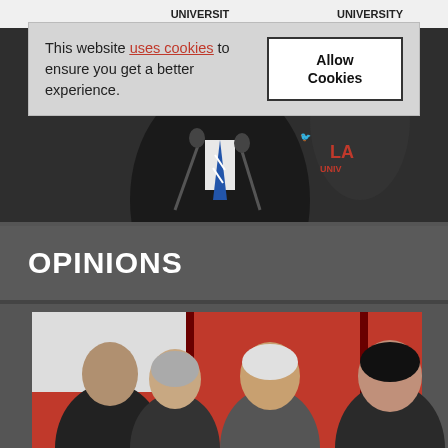[Figure (photo): Screenshot of La Trobe University website showing a man at a podium with microphones. A cookie consent banner overlays the top of the image. La Trobe University branding is visible in the background.]
This website uses cookies to ensure you get a better experience.
Allow Cookies
OPINIONS
[Figure (photo): Photo of several people at what appears to be a panel or conference event against a red background, including a silver-haired man in the center and a woman on the right.]